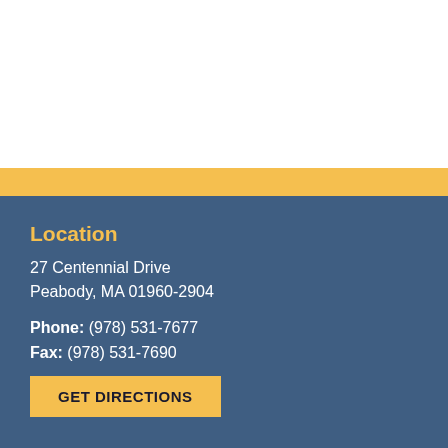Location
27 Centennial Drive
Peabody, MA 01960-2904
Phone: (978) 531-7677
Fax: (978) 531-7690
GET DIRECTIONS
Office Hours
Monday: 8:30AM – 4:30PM
Tuesday: 8:30AM – 4:30PM
Wednesday: 8:30AM – 4:30PM